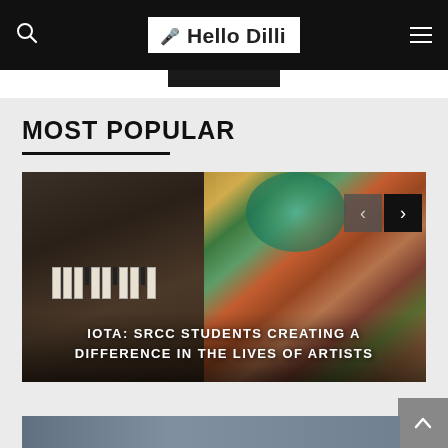Hello Dilli
MOST POPULAR
[Figure (photo): Carousel slide showing art: a harmonium on the left side and a colorful folk painting on the right side with women figures. Navigation arrows visible.]
IOTA: SRCC STUDENTS CREATING A DIFFERENCE IN THE LIVES OF ARTISTS
[Figure (photo): Partial view of another article image at the bottom of the page.]